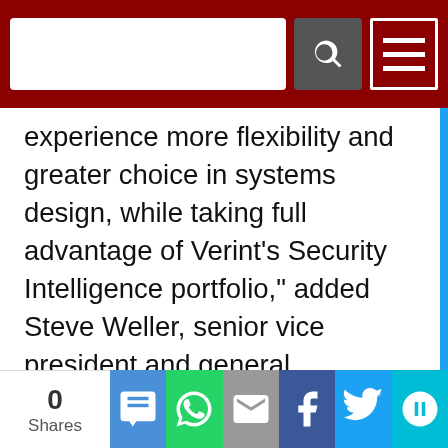[Search bar and navigation header]
experience more flexibility and greater choice in systems design, while taking full advantage of Verint’s Security Intelligence portfolio,” added Steve Weller, senior vice president and general manager, Verint Video and Situation Intelligence Solutions. “As situation management capabilities continue to evolve at a rapid pace, this certification helps ensure AMAG Symmetry customers have the opportunity to experience all of Verint’s latest capabilities to help maximize situation awareness.”
The Verint Situation Management Center and AMAG Symmetry SMS integration provides such end user benefits as:
0 Shares